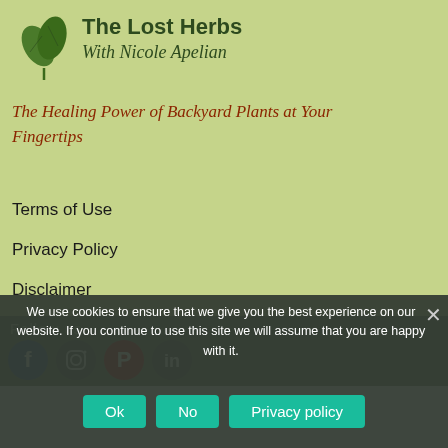[Figure (logo): The Lost Herbs logo with two green leaves]
The Lost Herbs
With Nicole Apelian
The Healing Power of Backyard Plants at Your Fingertips
Terms of Use
Privacy Policy
Disclaimer
Follow us
[Figure (infographic): Social media icons: Facebook, Instagram, Pinterest, and one more]
We use cookies to ensure that we give you the best experience on our website. If you continue to use this site we will assume that you are happy with it.
Ok   No   Privacy policy